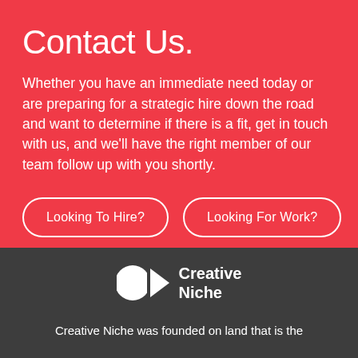Contact Us.
Whether you have an immediate need today or are preparing for a strategic hire down the road and want to determine if there is a fit, get in touch with us, and we'll have the right member of our team follow up with you shortly.
Looking To Hire?
Looking For Work?
[Figure (logo): Creative Niche logo: two overlapping geometric shapes (circle and triangle) in white, with text 'Creative Niche' in white bold to the right]
Creative Niche was founded on land that is the